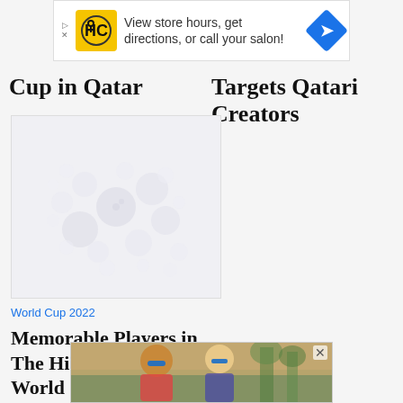[Figure (screenshot): Advertisement banner: HC salon logo with text 'View store hours, get directions, or call your salon!' and a blue navigation arrow icon]
Cup in Qatar
Targets Qatari Creators
[Figure (photo): Loading placeholder image with circular bubble pattern in light grey on white background]
World Cup 2022
Memorable Players in The History of The World Cup: Diego
[Figure (photo): Advertisement photo showing two women with sunglasses outdoors]